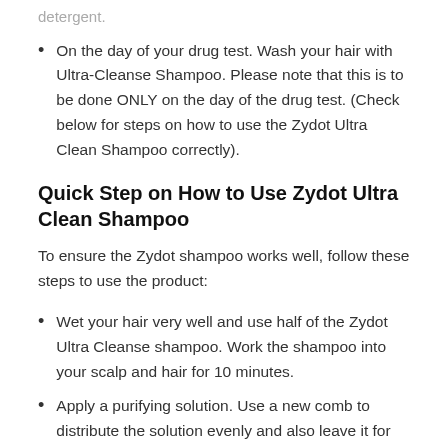detergent.
On the day of your drug test. Wash your hair with Ultra-Cleanse Shampoo. Please note that this is to be done ONLY on the day of the drug test. (Check below for steps on how to use the Zydot Ultra Clean Shampoo correctly).
Quick Step on How to Use Zydot Ultra Clean Shampoo
To ensure the Zydot shampoo works well, follow these steps to use the product:
Wet your hair very well and use half of the Zydot Ultra Cleanse shampoo. Work the shampoo into your scalp and hair for 10 minutes.
Apply a purifying solution. Use a new comb to distribute the solution evenly and also leave it for 10 minutes as